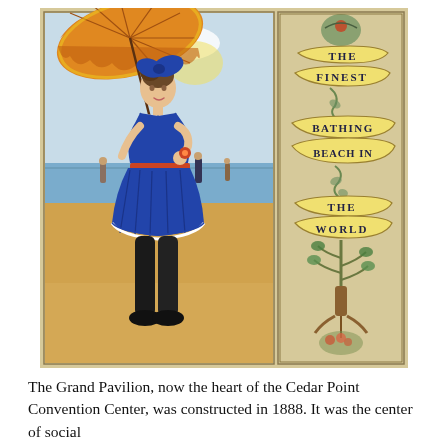[Figure (illustration): Art nouveau style illustration showing a woman in a blue bathing costume holding an orange parasol on a beach scene. To her right is a decorative ribbon banner reading 'THE FINEST BATHING BEACH IN THE WORLD' with ornamental botanical designs. The background shows a sandy beach with water and figures in the distance. The woman wears black stockings and a large blue bow in her hair.]
The Grand Pavilion, now the heart of the Cedar Point Convention Center, was constructed in 1888. It was the center of social